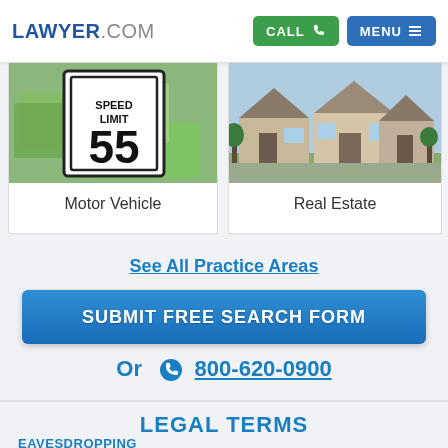LAWYER.COM  CALL  MENU
[Figure (photo): Motor Vehicle category image showing a speed limit sign with money]
Motor Vehicle
[Figure (photo): Real Estate category image showing suburban houses]
Real Estate
See All Practice Areas
SUBMIT FREE SEARCH FORM
Or  800-620-0900
LEGAL TERMS
EAVESDROPPING
Listening to conversations or observing conduct which is meant to be private, typically by using devices that amplify